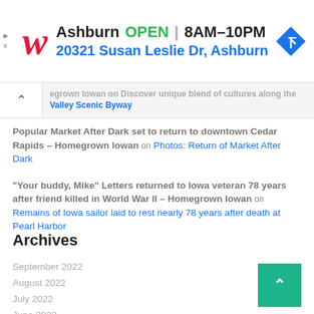[Figure (other): Walgreens advertisement banner showing Ashburn location OPEN 8AM-10PM at 20321 Susan Leslie Dr, Ashburn with navigation icon]
egrown Iowan on Discover unique blend of cultures along the Valley Scenic Byway
Popular Market After Dark set to return to downtown Cedar Rapids – Homegrown Iowan on Photos: Return of Market After Dark
"Your buddy, Mike" Letters returned to Iowa veteran 78 years after friend killed in World War II – Homegrown Iowan on Remains of Iowa sailor laid to rest nearly 78 years after death at Pearl Harbor
Archives
September 2022
August 2022
July 2022
June 2022